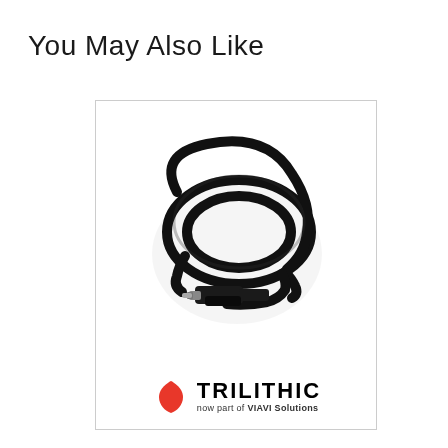You May Also Like
[Figure (photo): A coiled black cable/wire with a connector at one end and a small black module, shown in a product card with a Trilithic / VIAVI Solutions logo at the bottom]